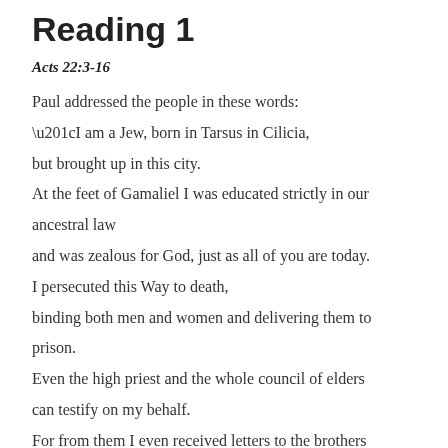Reading 1
Acts 22:3-16
Paul addressed the people in these words:
“I am a Jew, born in Tarsus in Cilicia,
but brought up in this city.
At the feet of Gamaliel I was educated strictly in our ancestral law
and was zealous for God, just as all of you are today.
I persecuted this Way to death,
binding both men and women and delivering them to prison.
Even the high priest and the whole council of elders can testify on my behalf.
For from them I even received letters to the brothers
and set out for Damascus to bring back to Jerusalem